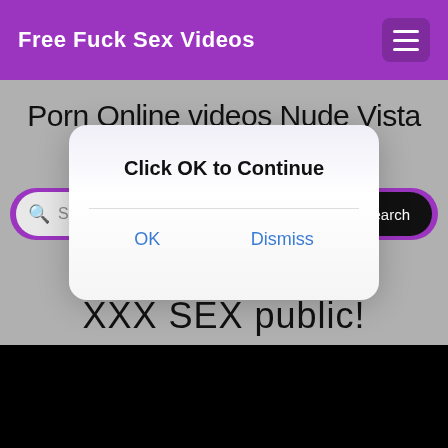Free Fuck Sex Videos
Porn Online videos Nude Vista Porn
[Figure (screenshot): Search bar with purple background, magnifying glass icon, placeholder text 'Search videos', and black Search button]
[Figure (screenshot): Dialog box with message 'Click OK to Continue' and two buttons: OK and Dismiss]
XXX SEX public!